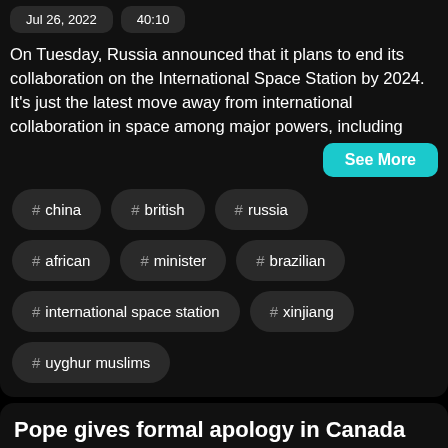Jul 26, 2022    40:10
On Tuesday, Russia announced that it plans to end its collaboration on the International Space Station by 2024. It's just the latest move away from international collaboration in space among major powers, including
See More
# china
# british
# russia
# african
# minister
# brazilian
# international space station
# xinjiang
# uyghur muslims
Pope gives formal apology in Canada